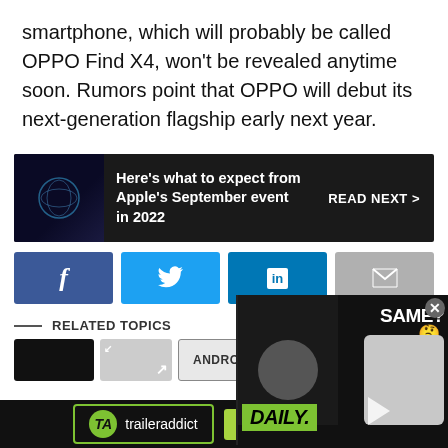smartphone, which will probably be called OPPO Find X4, won't be revealed anytime soon. Rumors point that OPPO will debut its next-generation flagship early next year.
[Figure (other): Dark promo banner: Apple logo image on left, bold white text 'Here's what to expect from Apple's September event in 2022', with 'READ NEXT >' on the right]
[Figure (other): Social share buttons row: Facebook (blue), Twitter (blue), LinkedIn (blue), Email (gray)]
RELATED TOPICS
[Figure (other): Tag pills row: black tag, gray tag with expand icon, ANDROID tag. Overlaid video popup showing 'SAME?' text, 'DAILY.' green label, and close button]
[Figure (other): Bottom bar: traileraddict logo and 'Watch More Trailers' green button]